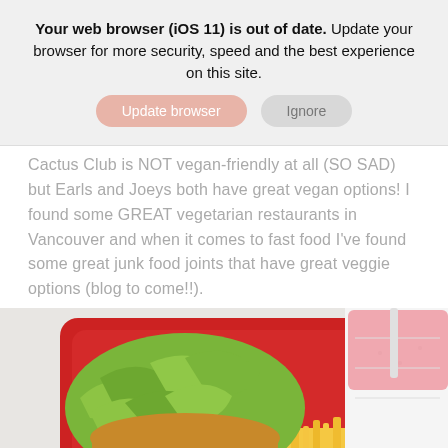Your web browser (iOS 11) is out of date. Update your browser for more security, speed and the best experience on this site.
Update browser | Ignore
Cactus Club is NOT vegan-friendly at all (SO SAD) but Earls and Joeys both have great vegan options! I found some GREAT vegetarian restaurants in Vancouver and when it comes to fast food I've found some great junk food joints that have great veggie options (blog to come!!).
[Figure (photo): A red fast food tray with a burger topped with lettuce, french fries, and a pink milkshake in a cup with a straw on a white surface.]